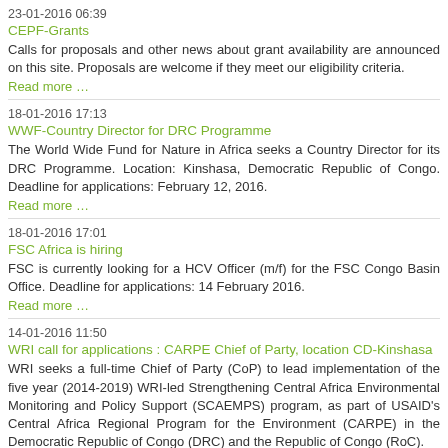23-01-2016 06:39
CEPF-Grants
Calls for proposals and other news about grant availability are announced on this site. Proposals are welcome if they meet our eligibility criteria.
Read more …
18-01-2016 17:13
WWF-Country Director for DRC Programme
The World Wide Fund for Nature in Africa seeks a Country Director for its DRC Programme. Location: Kinshasa, Democratic Republic of Congo. Deadline for applications: February 12, 2016.
Read more …
18-01-2016 17:01
FSC Africa is hiring
FSC is currently looking for a HCV Officer (m/f) for the FSC Congo Basin Office. Deadline for applications: 14 February 2016.
Read more …
14-01-2016 11:50
WRI call for applications : CARPE Chief of Party, location CD-Kinshasa
WRI seeks a full-time Chief of Party (CoP) to lead implementation of the five year (2014-2019) WRI-led Strengthening Central Africa Environmental Monitoring and Policy Support (SCAEMPS) program, as part of USAID's Central Africa Regional Program for the Environment (CARPE) in the Democratic Republic of Congo (DRC) and the Republic of Congo (RoC).
Read more …
14-01-2016 10:31
"agencemicroprojets.org/The Call for projects for the " Spring 2016 " session